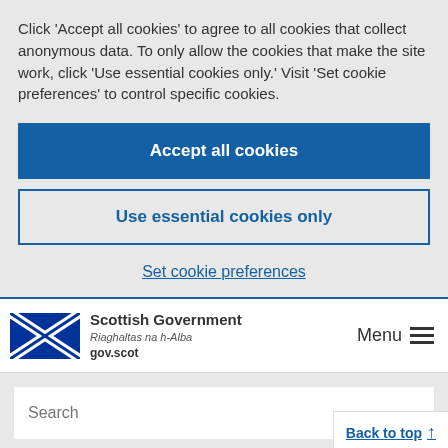Click 'Accept all cookies' to agree to all cookies that collect anonymous data. To only allow the cookies that make the site work, click 'Use essential cookies only.' Visit 'Set cookie preferences' to control specific cookies.
Accept all cookies
Use essential cookies only
Set cookie preferences
[Figure (logo): Scottish Government logo with Saltire flag and text: Scottish Government, Riaghaltas na h-Alba, gov.scot]
Menu
Search
Back to top